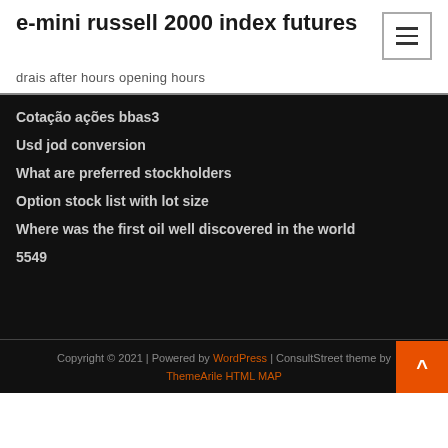e-mini russell 2000 index futures
drais after hours opening hours
Cotação ações bbas3
Usd jod conversion
What are preferred stockholders
Option stock list with lot size
Where was the first oil well discovered in the world
5549
Copyright © 2021 | Powered by WordPress | ConsultStreet theme by ThemeArile HTML MAP